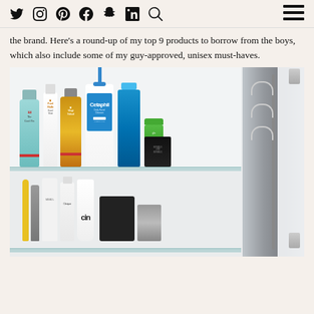Social media navigation icons: Twitter, Instagram, Pinterest, Facebook, Snapchat, LinkedIn, Search, Menu
the brand. Here's a round-up of my top 9 products to borrow from the boys, which also include some of my guy-approved, unisex must-haves.
[Figure (photo): Open medicine cabinet showing two shelves of men's grooming products including The Cool Fix, Pearl Truffale tube, Magi Nabad amber bottle, Cetaphil Daily Facial Cleanser pump bottle, blue Listerine bottle, green jar, black Bumble and bumble jar, and on the lower shelf a toothbrush, razor, white tubes including Clinique, Cetaphil travel size, a cin-branded tube, black pouch, and other items. Right side shows a mirrored door reflecting white shirts on hangers.]